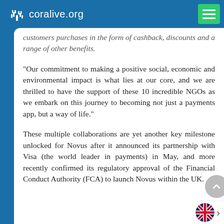coralive.org
customers purchases in the form of cashback, discounts and a range of other benefits.
“Our commitment to making a positive social, economic and environmental impact is what lies at our core, and we are thrilled to have the support of these 10 incredible NGOs as we embark on this journey to becoming not just a payments app, but a way of life.”
These multiple collaborations are yet another key milestone unlocked for Novus after it announced its partnership with Visa (the world leader in payments) in May, and more recently confirmed its regulatory approval of the Financial Conduct Authority (FCA) to launch Novus within the UK.